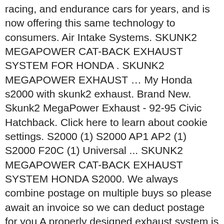racing, and endurance cars for years, and is now offering this same technology to consumers. Air Intake Systems. SKUNK2 MEGAPOWER CAT-BACK EXHAUST SYSTEM FOR HONDA . SKUNK2 MEGAPOWER EXHAUST … My Honda s2000 with skunk2 exhaust. Brand New. Skunk2 MegaPower Exhaust - 92-95 Civic Hatchback. Click here to learn about cookie settings. S2000 (1) S2000 AP1 AP2 (1) S2000 F20C (1) Universal ... SKUNK2 MEGAPOWER CAT-BACK EXHAUST SYSTEM HONDA S2000. We always combine postage on multiple buys so please await an invoice so we can deduct postage for you A properly designed exhaust system is critical to engine performance. Check out our huge selection of affordable mobile accessories and more. Watch Queue Queue SKUNK2 MEGAPOWER RR CAT-BACK EXHAUST SYSTEM HONDA CIVIC SI 06-10 . Click & Collect. TEGIWA IMPORTS LTDTegiwa House, Sutherland Road,Stoke-on-Trent. Ready For Dispatch. Skunk2. Skunk2's 60 millimeter MegaPower exhaust system for the S2000 is constructed of T-304 stainless steel, is robotically TIG welded, and features CNC mandrel bent tubes for a precise fit. SKUNK2 RACING TEST DECAT PIPE